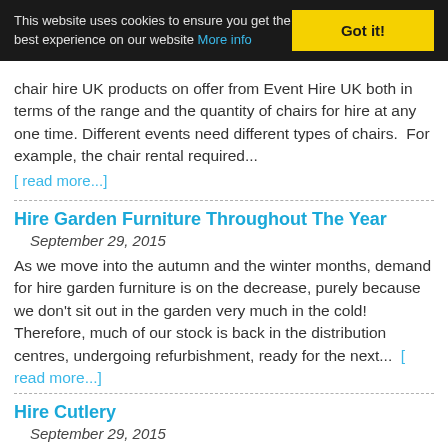This website uses cookies to ensure you get the best experience on our website More info | Got it!
chair hire UK products on offer from Event Hire UK both in terms of the range and the quantity of chairs for hire at any one time. Different events need different types of chairs.  For example, the chair rental required... [ read more...]
Hire Garden Furniture Throughout The Year
September 29, 2015
As we move into the autumn and the winter months, demand for hire garden furniture is on the decrease, purely because we don't sit out in the garden very much in the cold!  Therefore, much of our stock is back in the distribution centres, undergoing refurbishment, ready for the next... [ read more...]
Hire Cutlery
September 29, 2015